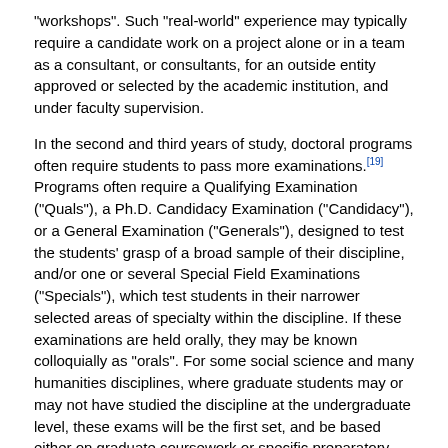"workshops". Such "real-world" experience may typically require a candidate work on a project alone or in a team as a consultant, or consultants, for an outside entity approved or selected by the academic institution, and under faculty supervision.
In the second and third years of study, doctoral programs often require students to pass more examinations.[19] Programs often require a Qualifying Examination ("Quals"), a Ph.D. Candidacy Examination ("Candidacy"), or a General Examination ("Generals"), designed to test the students' grasp of a broad sample of their discipline, and/or one or several Special Field Examinations ("Specials"), which test students in their narrower selected areas of specialty within the discipline. If these examinations are held orally, they may be known colloquially as "orals". For some social science and many humanities disciplines, where graduate students may or may not have studied the discipline at the undergraduate level, these exams will be the first set, and be based either on graduate coursework or specific preparatory reading (sometimes up to a year's work in reading). In all cases, comprehensive exams are normally both stressful and time-consuming, and must be passed to be allowed to proceed on to the thesis. Passing such examinations